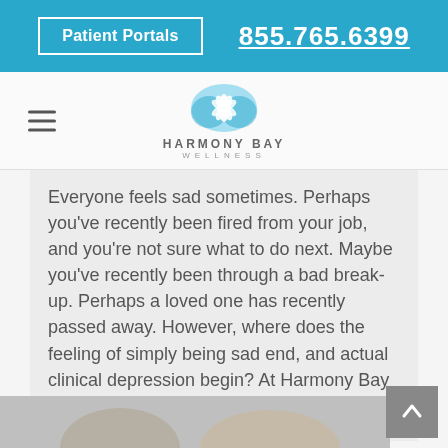Patient Portals  855.765.6399
[Figure (logo): Harmony Bay Wellness logo: blue lotus flower with HARMONY BAY WELLNESS text]
Everyone feels sad sometimes. Perhaps you've recently been fired from your job, and you're not sure what to do next. Maybe you've recently been through a bad break-up. Perhaps a loved one has recently passed away. However, where does the feeling of simply being sad end, and actual clinical depression begin? At Harmony Bay Wellness,...